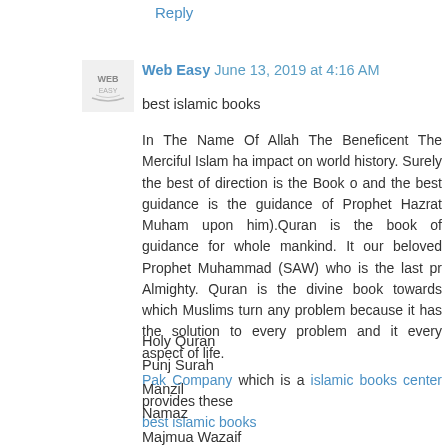Reply
[Figure (logo): Web Easy website logo/avatar icon with stylized W and book pages]
Web Easy  June 13, 2019 at 4:16 AM
best islamic books
In The Name Of Allah The Beneficent The Merciful Islam ha impact on world history. Surely the best of direction is the Book o and the best guidance is the guidance of Prophet Hazrat Muham upon him).Quran is the book of guidance for whole mankind. It our beloved Prophet Muhammad (SAW) who is the last pr Almighty. Quran is the divine book towards which Muslims turn any problem because it has the solution to every problem and it every aspect of life. Pak Company which is a islamic books center provides these best islamic books
Holy Quran
Punj Surah
Manzil
Namaz
Majmua Wazaif
and many more.